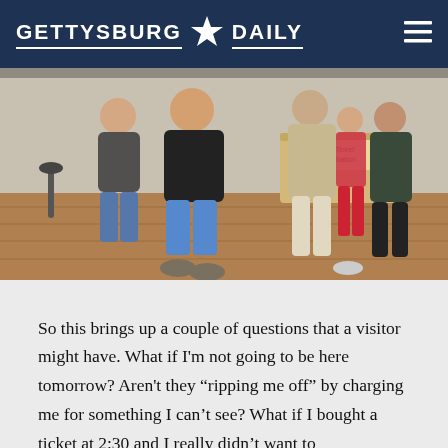GETTYSBURG DAILY
[Figure (photo): Visitors standing in line at an indoor ticket counter or information desk inside what appears to be a museum or visitor center. Several people are visible including a man in a black shirt and shorts and a woman beside him. A wooden counter is visible in the background with a sign reading 'Ticket Station'. The floor is hardwood.]
So this brings up a couple of questions that a visitor might have. What if I'm not going to be here tomorrow? Aren't they “ripping me off” by charging me for something I can't see? What if I bought a ticket at 2:30 and I really didn't want to